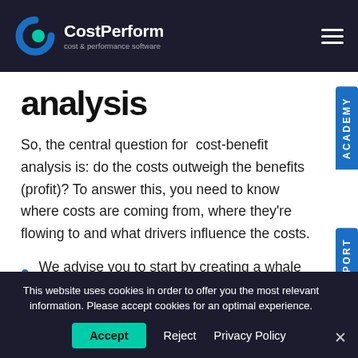CostPerform — cost & performance software
analysis
So, the central question for cost-benefit analysis is: do the costs outweigh the benefits (profit)? To answer this, you need to know where costs are coming from, where they're flowing to and what drivers influence the costs.
We advise you to start by creating a whale chart. This shows you your profit by the denominator of your
This website uses cookies in order to offer you the most relevant information. Please accept cookies for an optimal experience.